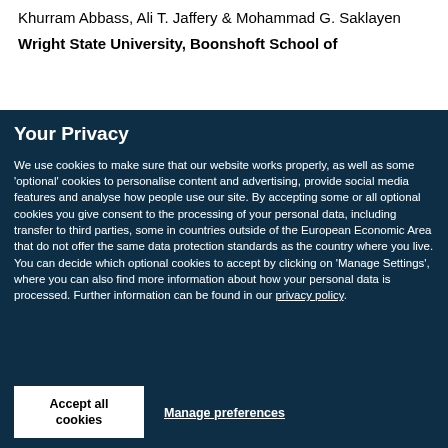Khurram Abbass, Ali T. Jaffery & Mohammad G. Saklayen
Wright State University, Boonshoft School of
Your Privacy
We use cookies to make sure that our website works properly, as well as some 'optional' cookies to personalise content and advertising, provide social media features and analyse how people use our site. By accepting some or all optional cookies you give consent to the processing of your personal data, including transfer to third parties, some in countries outside of the European Economic Area that do not offer the same data protection standards as the country where you live. You can decide which optional cookies to accept by clicking on 'Manage Settings', where you can also find more information about how your personal data is processed. Further information can be found in our privacy policy.
Accept all cookies
Manage preferences